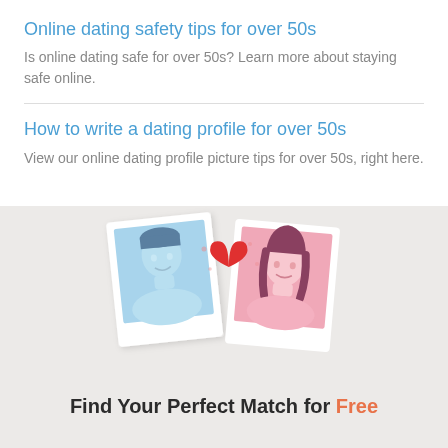Online dating safety tips for over 50s
Is online dating safe for over 50s? Learn more about staying safe online.
How to write a dating profile for over 50s
View our online dating profile picture tips for over 50s, right here.
[Figure (illustration): Two polaroid-style photos side by side — left shows a male avatar with blue background, right shows a female avatar with pink background — with a red heart between them, on a light grey background.]
Find Your Perfect Match for Free